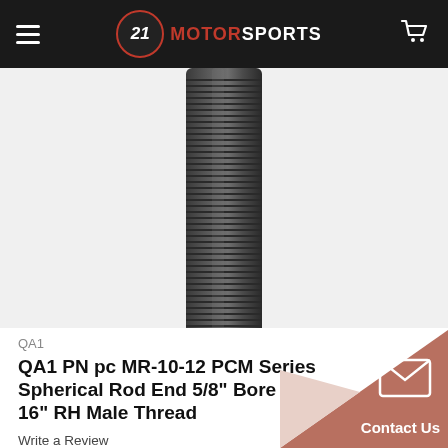21 MOTORSPORTS
[Figure (photo): Close-up photo of a threaded metal rod end / bolt shaft with black coating showing fine thread ridges, centered on white background]
QA1
QA1 PN pc MR-10-12 PCM Series Spherical Rod End 5/8" Bore 3/4-16" RH Male Thread
Write a Review
Contact Us